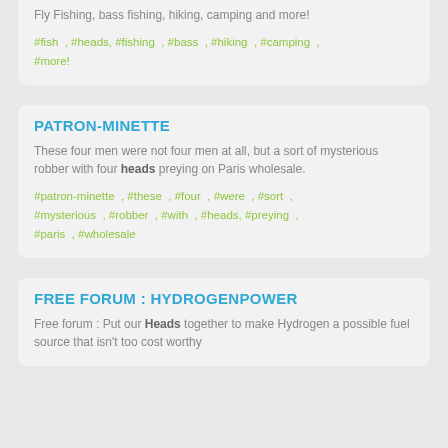Fly Fishing, bass fishing, hiking, camping and more!
#fish , #heads, #fishing , #bass , #hiking , #camping , #more!
PATRON-MINETTE
These four men were not four men at all, but a sort of mysterious robber with four heads preying on Paris wholesale.
#patron-minette , #these , #four , #were , #sort , #mysterious , #robber , #with , #heads, #preying , #paris , #wholesale
FREE FORUM : HYDROGENPOWER
Free forum : Put our Heads together to make Hydrogen a possible fuel source that isn't too cost worthy